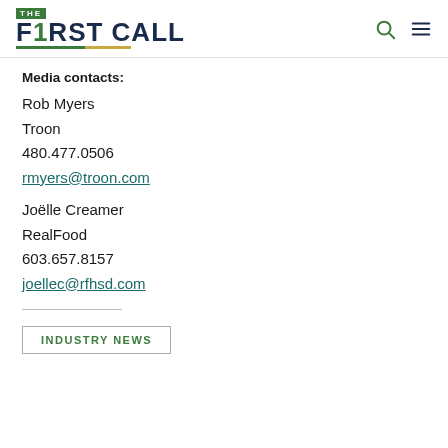THE F1RST CALL
Media contacts:
Rob Myers
Troon
480.477.0506
rmyers@troon.com
Joëlle Creamer
RealFood
603.657.8157
joellec@rfhsd.com
INDUSTRY NEWS